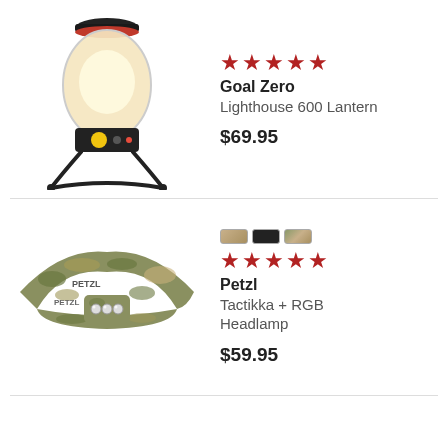[Figure (photo): Goal Zero Lighthouse 600 Lantern product photo]
★★★★★
Goal Zero
Lighthouse 600 Lantern
$69.95
[Figure (photo): Petzl Tactikka + RGB Headlamp product photo with color swatches]
★★★★★
Petzl
Tactikka + RGB Headlamp
$59.95